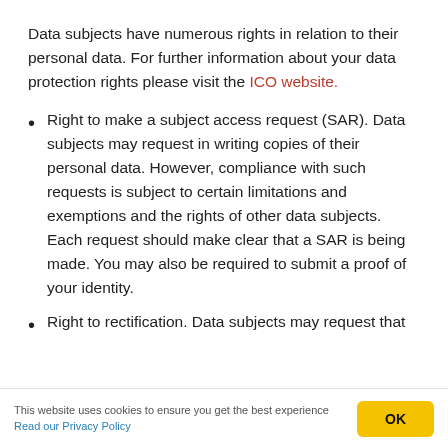Data subjects have numerous rights in relation to their personal data. For further information about your data protection rights please visit the ICO website.
Right to make a subject access request (SAR). Data subjects may request in writing copies of their personal data. However, compliance with such requests is subject to certain limitations and exemptions and the rights of other data subjects. Each request should make clear that a SAR is being made. You may also be required to submit a proof of your identity.
Right to rectification. Data subjects may request that
This website uses cookies to ensure you get the best experience Read our Privacy Policy OK